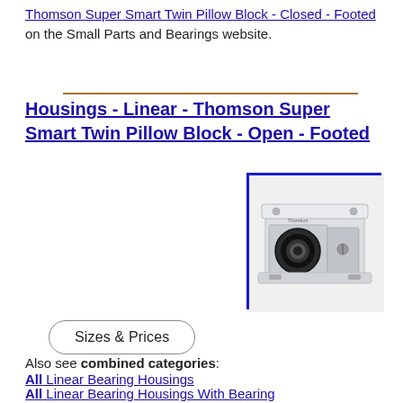Thomson Super Smart Twin Pillow Block - Closed - Footed on the Small Parts and Bearings website.
Housings - Linear - Thomson Super Smart Twin Pillow Block - Open - Footed
[Figure (photo): Photo of a Thomson Super Smart Twin Pillow Block - Open - Footed linear bearing housing unit, white/gray rectangular block with visible bearing bore, shown at an angle]
Sizes & Prices
Also see combined categories:
All Linear Bearing Housings
All Linear Bearing Housings With Bearing